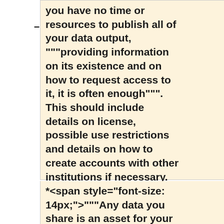you have no time or resources to publish all of your data output, """providing information on its existence and on how to request access to it, it is often enough""". This should include details on license, possible use restrictions and details on how to create accounts with other institutions if necessary. </span>
*<span style="font-size: 14px;">"""Any data you share is an asset for your institution""". Remember we have a data expert in CLEx and there will be others in your